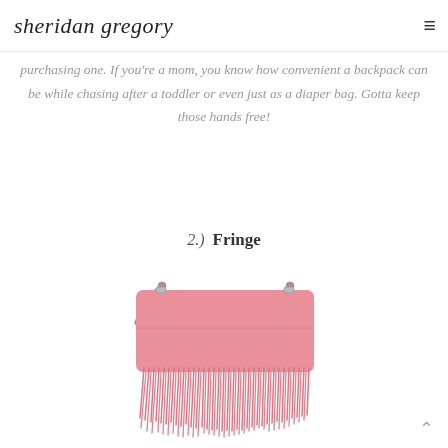sheridan gregory
purchasing one. If you're a mom, you know how convenient a backpack can be while chasing after a toddler or even just as a diaper bag. Gotta keep those hands free!
2.)  Fringe
[Figure (photo): A pink fringe crossbody handbag with long suede fringe strips hanging from the body of the bag and a thin shoulder strap.]